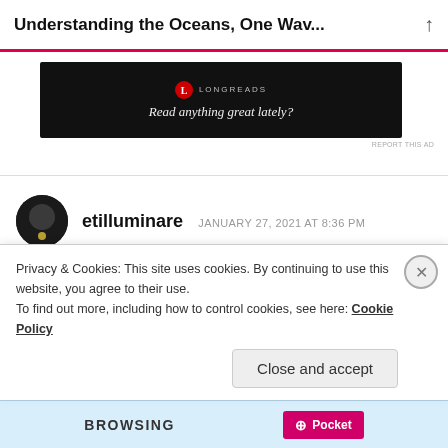Understanding the Oceans, One Wav...
[Figure (screenshot): Longreads advertisement banner with black background showing the Longreads logo and tagline 'Read anything great lately?']
etilluminare   JANUARY 27, 2021 AT 8:36 PM
A very thorough but brief explanation about some of the physical parameters of the ocean. A great read! I am currently reading a book called
Privacy & Cookies: This site uses cookies. By continuing to use this website, you agree to their use.
To find out more, including how to control cookies, see here: Cookie Policy
Close and accept
[Figure (screenshot): Bottom browser bar showing 'BROWSING' text and a Pocket save button]